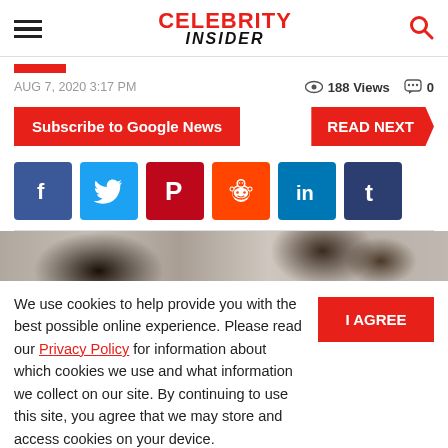Celebrity Insider
AUG 7, 2020 3:17 PM   188 Views  0
Subscribe to Google News   READ NEXT
[Figure (other): Social media share buttons: Facebook, Twitter, Pinterest, Reddit, LinkedIn, Tumblr]
[Figure (photo): Partially visible photo of people, cropped at bottom of visible area]
We use cookies to help provide you with the best possible online experience. Please read our Privacy Policy for information about which cookies we use and what information we collect on our site. By continuing to use this site, you agree that we may store and access cookies on your device.